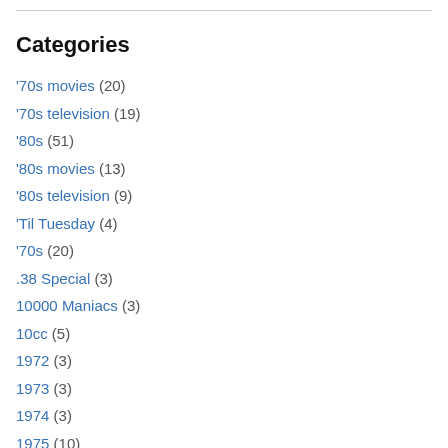Categories
'70s movies (20)
'70s television (19)
'80s (51)
'80s movies (13)
'80s television (9)
'Til Tuesday (4)
'70s (20)
.38 Special (3)
10000 Maniacs (3)
10cc (5)
1972 (3)
1973 (3)
1974 (3)
1975 (10)
1976 (4)
1977 (8)
1978 (4)